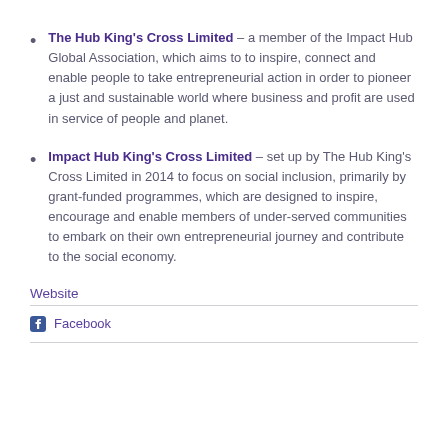The Hub King's Cross Limited – a member of the Impact Hub Global Association, which aims to to inspire, connect and enable people to take entrepreneurial action in order to pioneer a just and sustainable world where business and profit are used in service of people and planet.
Impact Hub King's Cross Limited – set up by The Hub King's Cross Limited in 2014 to focus on social inclusion, primarily by grant-funded programmes, which are designed to inspire, encourage and enable members of under-served communities to embark on their own entrepreneurial journey and contribute to the social economy.
Website
Facebook